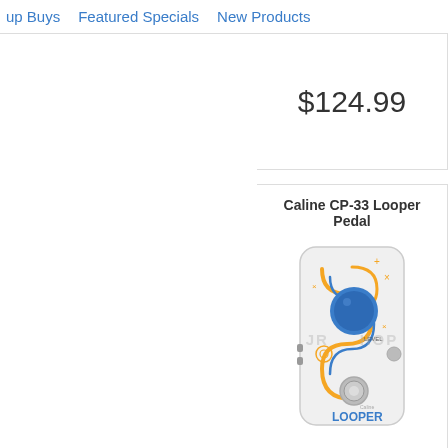up Buys  Featured Specials  New Products
$124.99
Caline CP-33 Looper Pedal
[Figure (photo): Caline CP-33 Looper Pedal - white pedal with blue and orange design, large blue knob labeled LEVEL, footswitch, and LOOPER text at bottom]
$54.00